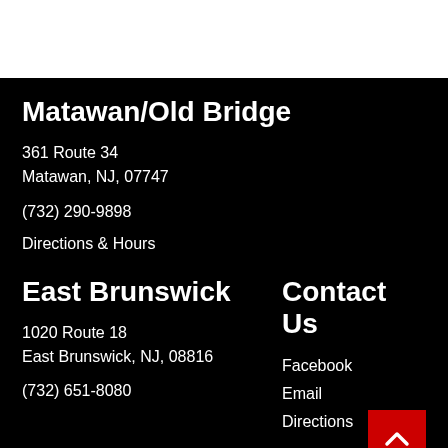Matawan/Old Bridge
361 Route 34
Matawan, NJ, 07747
(732) 290-9898
Directions & Hours
East Brunswick
Contact Us
1020 Route 18
East Brunswick, NJ, 08816
Facebook
Email
Directions
(732) 651-8080